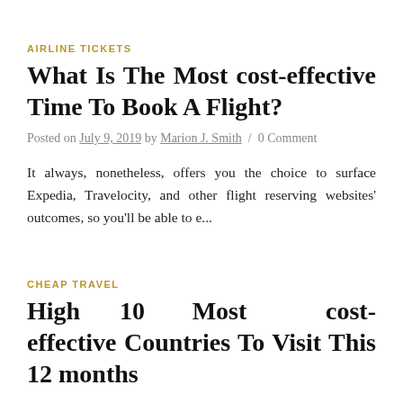AIRLINE TICKETS
What Is The Most cost-effective Time To Book A Flight?
Posted on July 9, 2019 by Marion J. Smith / 0 Comment
It always, nonetheless, offers you the choice to surface Expedia, Travelocity, and other flight reserving websites' outcomes, so you'll be able to e...
CHEAP TRAVEL
High 10 Most cost-effective Countries To Visit This 12 months